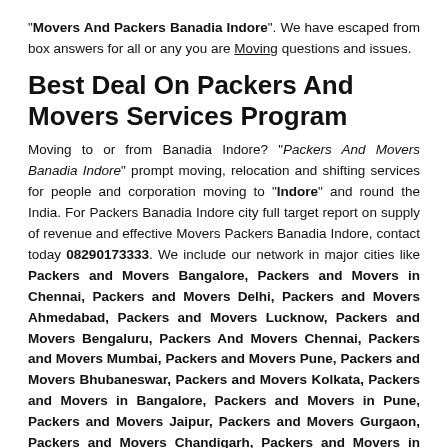"Movers And Packers Banadia Indore". We have escaped from box answers for all or any you are Moving questions and issues.
Best Deal On Packers And Movers Services Program
Moving to or from Banadia Indore? "Packers And Movers Banadia Indore" prompt moving, relocation and shifting services for people and corporation moving to "Indore" and round the India. For Packers Banadia Indore city full target report on supply of revenue and effective Movers Packers Banadia Indore, contact today 08290173333. We include our network in major cities like Packers and Movers Bangalore, Packers and Movers in Chennai, Packers and Movers Delhi, Packers and Movers Ahmedabad, Packers and Movers Lucknow, Packers and Movers Bengaluru, Packers And Movers Chennai, Packers and Movers Mumbai, Packers and Movers Pune, Packers and Movers Bhubaneswar, Packers and Movers Kolkata, Packers and Movers in Bangalore, Packers and Movers in Pune, Packers and Movers Jaipur, Packers and Movers Gurgaon, Packers and Movers Chandigarh, Packers and Movers in Ahmedabad, Packers and Movers Patna, Packers and Movers Hyderabad, Movers and Packers Pune, Packers and Movers Bhopal.
Compare Top Packers And Movers Banadia Indore charges to save